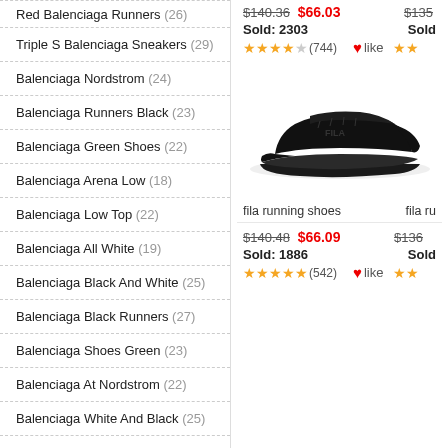Red Balenciaga Runners (26)
Triple S Balenciaga Sneakers (29)
Balenciaga Nordstrom (24)
Balenciaga Runners Black (23)
Balenciaga Green Shoes (22)
Balenciaga Arena Low (18)
Balenciaga Low Top (22)
Balenciaga All White (19)
Balenciaga Black And White (25)
Balenciaga Black Runners (27)
Balenciaga Shoes Green (23)
Balenciaga At Nordstrom (22)
Balenciaga White And Black (25)
Black And White Balenciaga (29)
Black Balenciaga Runners (21)
Green Balenciaga Shoes (25)
$140.36  $66.03  Sold: 2303  ★★★★☆(744)  like
[Figure (photo): Black Fila running shoe on white background]
fila running shoes
$140.48  $66.09  Sold: 1886  ★★★★★(542)  like